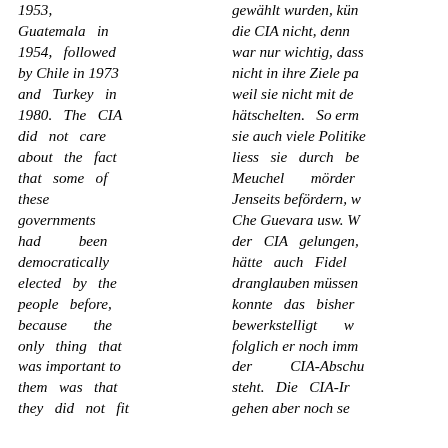1953, Guatemala in 1954, followed by Chile in 1973 and Turkey in 1980. The CIA did not care about the fact that some of these governments had been democratically elected by the people before, because the only thing that was important to them was that they did not fit
gewählt wurden, kün die CIA nicht, denn war nur wichtig, dass nicht in ihre Ziele pa weil sie nicht mit de hätschelten. So erm sie auch viele Politike liess sie durch be Meuchel mörder Jenseits befördern, w Che Guevara usw. W der CIA gelungen, hätte auch Fidel dranglauben müssen konnte das bisher bewerkstelligt w folglich er noch imm der CIA-Abschu steht. Die CIA-l gehen aber noch se